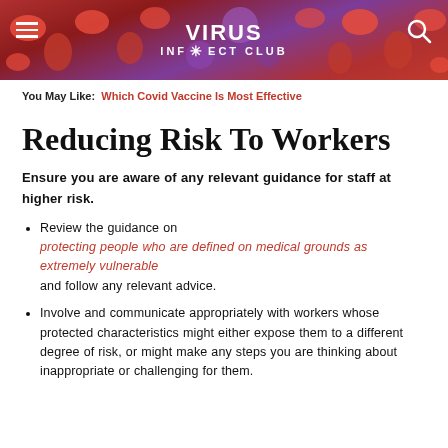[Figure (other): Website header banner with red blood cell microscopy background image, hamburger menu icon on left, 'VIRUS INFECT CLUB' logo in center with gear/virus icon, and search icon on right.]
You May Like: Which Covid Vaccine Is Most Effective
Reducing Risk To Workers
Ensure you are aware of any relevant guidance for staff at higher risk.
Review the guidance on protecting people who are defined on medical grounds as extremely vulnerable and follow any relevant advice.
Involve and communicate appropriately with workers whose protected characteristics might either expose them to a different degree of risk, or might make any steps you are thinking about inappropriate or challenging for them.